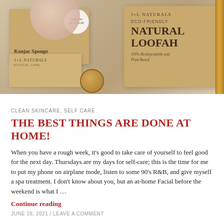[Figure (photo): Photo of J+L Naturals eco-friendly skincare products including a Konjac Sponge for Natural Exfoliation box, an Eco-Friendly Natural Loofah box (100% Biodegradable and Plant Based), and a J+L Naturals branded card/box, arranged in a bamboo-accented display.]
CLEAN SKINCARE, SELF CARE
THE BEST THINGS ARE DONE AT HOME!
When you have a rough week, it’s good to take care of yourself to feel good for the next day. Thursdays are my days for self-care; this is the time for me to put my phone on airplane mode, listen to some 90’s R&B, and give myself a spa treatment. I don’t know about you, but an at-home Facial before the weekend is what I …
Continue reading
JUNE 28, 2021 / LEAVE A COMMENT